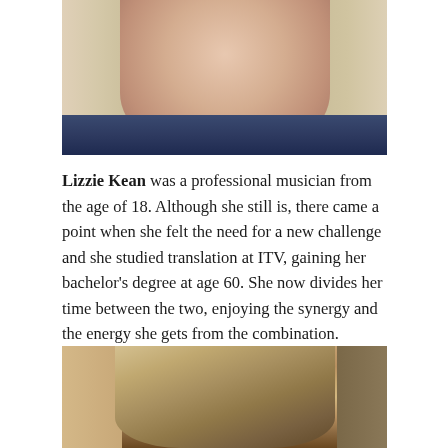[Figure (photo): Close-up photo of Lizzie Kean, an older woman with blonde/white wavy hair, smiling, wearing a dark navy top with pink accent visible at neckline. Photo is cropped to show face and upper shoulders.]
Lizzie Kean was a professional musician from the age of 18. Although she still is, there came a point when she felt the need for a new challenge and she studied translation at ITV, gaining her bachelor's degree at age 60. She now divides her time between the two, enjoying the synergy and the energy she gets from the combination.
[Figure (photo): Photo of another person, showing the top of their head and hair (dark brown with some lighter highlights), cropped at the bottom of the page.]